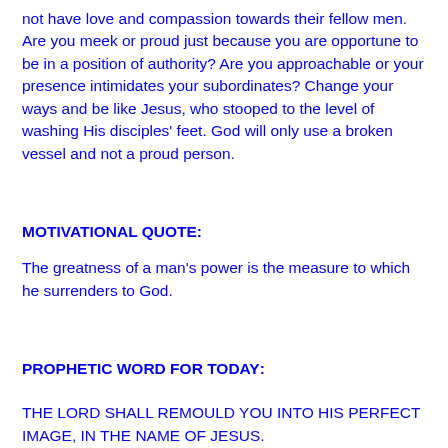not have love and compassion towards their fellow men. Are you meek or proud just because you are opportune to be in a position of authority? Are you approachable or your presence intimidates your subordinates? Change your ways and be like Jesus, who stooped to the level of washing His disciples' feet. God will only use a broken vessel and not a proud person.
MOTIVATIONAL QUOTE:
The greatness of a man's power is the measure to which he surrenders to God.
PROPHETIC WORD FOR TODAY:
THE LORD SHALL REMOULD YOU INTO HIS PERFECT IMAGE, IN THE NAME OF JESUS.